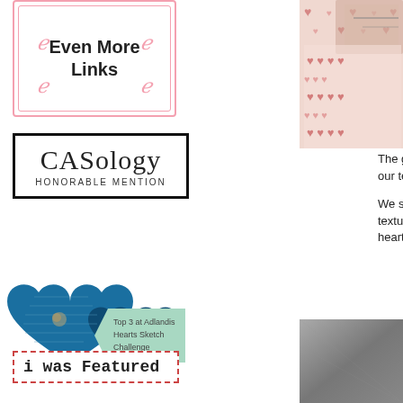Even More Links
[Figure (logo): CASology Honorable Mention badge — black border rectangle with 'CASology' in serif font and 'HONORABLE MENTION' in small caps below]
[Figure (photo): Photo of heart-patterned fabric or wrapping paper in pink and red tones]
The grid of hearts on the right w... is our teacher, Mixed Media Arti...
We started by drawing a grid on texture. Next we added papers or the hearts.
[Figure (illustration): Blue decorative hearts badge with mint green banner reading 'Top 3 at Adlandis Hearts Sketch Challenge']
[Figure (photo): Gray/dark photo cropped at bottom right]
i was featured